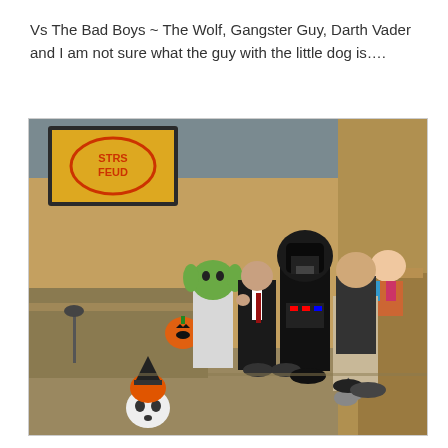Vs The Bad Boys ~ The Wolf, Gangster Guy, Darth Vader and I am not sure what the guy with the little dog is….
[Figure (photo): Indoor photo of people in Halloween costumes in what appears to be a government meeting room. A screen in the background shows 'STRS FEUD'. People are dressed as Yoda, a gangster/suit, Darth Vader, and another person. Halloween decorations including a pumpkin jack-o-lantern and skull are visible.]